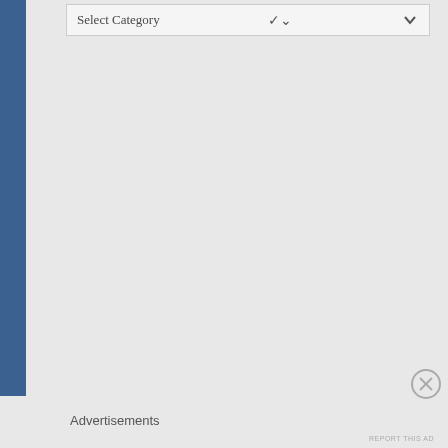[Figure (screenshot): UI dropdown selector with label 'Select Category' and a chevron/arrow icon on the right side]
[Figure (other): Close/dismiss button shown as a circle with an X inside, positioned in the lower right area]
Advertisements
REPORT THIS AD